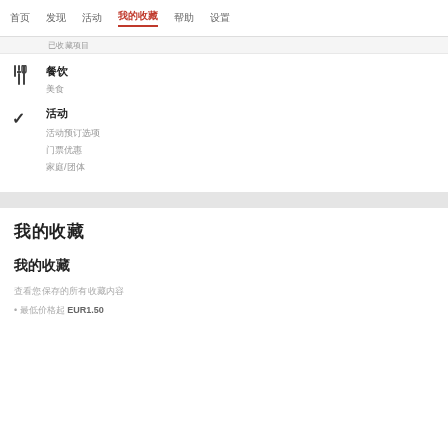首页  发现  活动  我的收藏  帮助  设置
已收藏项目
餐饮
美食
活动
活动预订选项
门票优惠
家庭/团体
我的收藏
我的收藏
查看您保存的所有收藏内容
• 最低价格起 EUR1.50